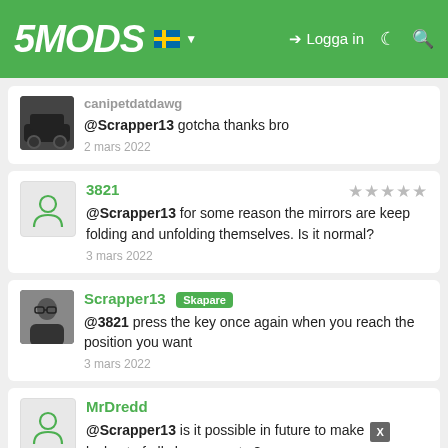5MODS — Logga in
canipetdatdawg — @Scrapper13 gotcha thanks bro — 2 mars 2022
3821 — @Scrapper13 for some reason the mirrors are keep folding and unfolding themselves. Is it normal? — 3 mars 2022
Scrapper13 Skapare — @3821 press the key once again when you reach the position you want — 3 mars 2022
MrDredd — @Scrapper13 is it possible in future to make blackout of all chrome parts ? — 3 mars 2022